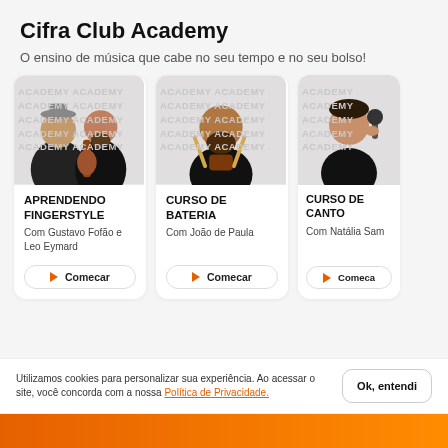Cifra Club Academy
O ensino de música que cabe no seu tempo e no seu bolso!
[Figure (photo): Course card: Aprendendo Fingerstyle with two men, one with guitar. Watermark: ACADEMY repeated.]
APRENDENDO FINGERSTYLE
Com Gustavo Fofão e Leo Eymard
Comecar
[Figure (photo): Course card: Curso de Bateria with man holding drumsticks. Watermark: ACADEMY repeated.]
CURSO DE BATERIA
Com João de Paula
Comecar
[Figure (photo): Course card: Curso de Canto with woman singing into microphone. Watermark: ACADEMY repeated.]
CURSO DE CANTO
Com Natália Sam
Comeca
Utilizamos cookies para personalizar sua experiência. Ao acessar o site, você concorda com a nossa Política de Privacidade.
Ok, entendi